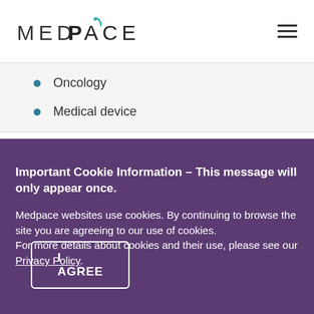[Figure (logo): Medpace logo with stylized compass/arrow over letter A in teal, followed by CE in dark text, all caps with wide letter-spacing]
Oncology
Medical device
Important Cookie Information – This message will only appear once. Medpace websites use cookies. By continuing to browse the site you are agreeing to our use of cookies. For more details about cookies and their use, please see our Privacy Policy.
I AGREE